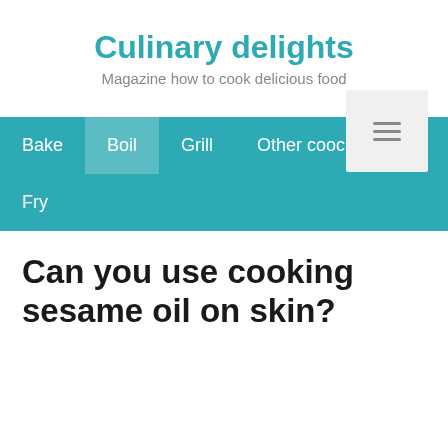Culinary delights
Magazine how to cook delicious food
[Figure (screenshot): Hamburger/menu icon button in light gray box, top right corner]
Bake   Boil   Grill   Other coocing   Fry
Can you use cooking sesame oil on skin?